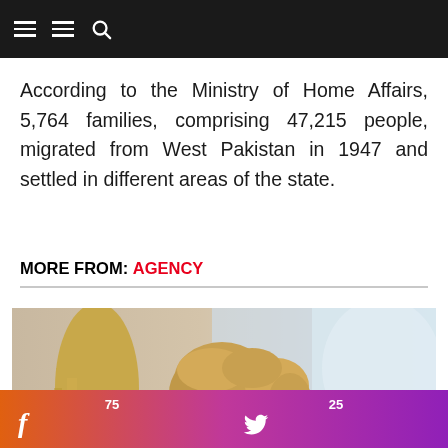Navigation header with menu icons and search
According to the Ministry of Home Affairs, 5,764 families, comprising 47,215 people, migrated from West Pakistan in 1947 and settled in different areas of the state.
MORE FROM: AGENCY
[Figure (photo): A woman holding a toddler wearing a white medical/respiratory face mask. The child has curly blonde hair and is looking at the camera. The woman has straight blonde hair. Background is blurred light blue/white.]
75 Facebook shares | 25 Twitter shares